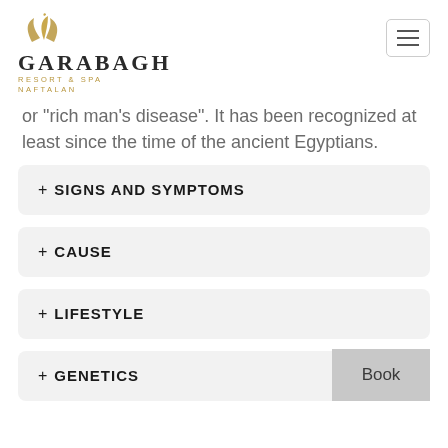[Figure (logo): Garabagh Resort & Spa Naftalan logo with golden leaf icon and serif text]
or 'rich man's disease'. It has been recognized at least since the time of the ancient Egyptians.
+ SIGNS AND SYMPTOMS
+ CAUSE
+ LIFESTYLE
+ GENETICS